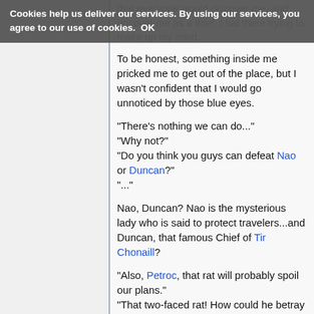Cookies help us deliver our services. By using our services, you agree to our use of cookies. OK
that everyone would discover me, and uncover me as a thief. I sat there trying to make up my mind.
To be honest, something inside me pricked me to get out of the place, but I wasn't confident that I would go unnoticed by those blue eyes.
"There's nothing we can do..."
"Why not?"
"Do you think you guys can defeat Nao or Duncan?"
"..."
Nao, Duncan? Nao is the mysterious lady who is said to protect travelers...and Duncan, that famous Chief of Tir Chonaill?
"Also, Petroc, that rat will probably spoil our plans."
"That two-faced rat! How could he betray us for Nao? I don't care how pretty she